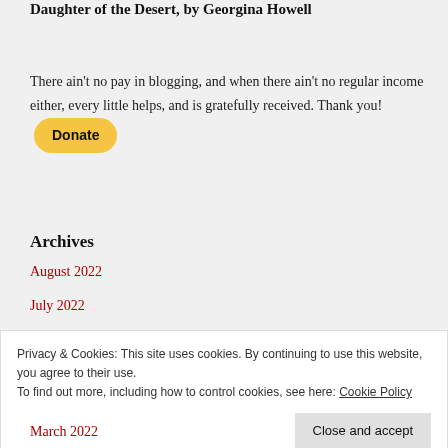Daughter of the Desert, by Georgina Howell
There ain't no pay in blogging, and when there ain't no regular income either, every little helps, and is gratefully received. Thank you!
Archives
August 2022
July 2022
Privacy & Cookies: This site uses cookies. By continuing to use this website, you agree to their use.
To find out more, including how to control cookies, see here: Cookie Policy
March 2022